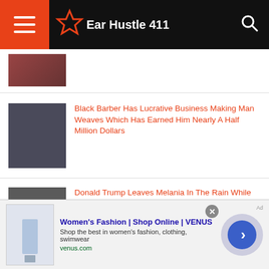Ear Hustle 411
[Figure (photo): Partial thumbnail at top of article list]
Black Barber Has Lucrative Business Making Man Weaves Which Has Earned Him Nearly A Half Million Dollars
Donald Trump Leaves Melania In The Rain While He Holds His Hat & An Umbrella
White Georgia Cop Shoots Herself &
[Figure (advertisement): Women's Fashion | Shop Online | VENUS advertisement banner - Shop the best in women's fashion, clothing, swimwear - venus.com]